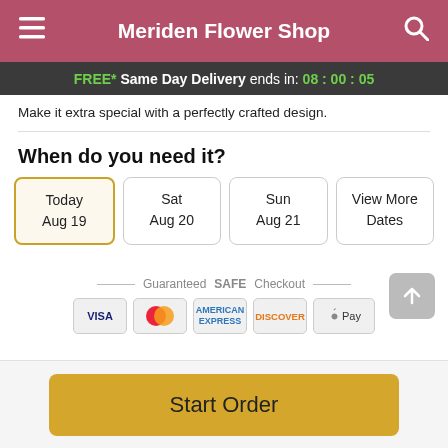Meriden Flower Shop
FREE* Same Day Delivery ends in: 08:00:05
Make it extra special with a perfectly crafted design.
When do you need it?
Today Aug 19
Sat Aug 20
Sun Aug 21
View More Dates
Guaranteed SAFE Checkout
[Figure (infographic): Payment method icons: VISA, Mastercard, American Express, Discover, Apple Pay]
Start Order